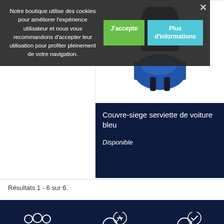Notre boutique utilise des cookies pour améliorer l'expérience utilisateur et nous vous recommandons d'accepter leur utilisation pour profiter pleinement de votre navigation.
[Figure (screenshot): Cookie consent banner with accept and more information buttons]
[Figure (photo): Blue car seat cover towel product image]
Couvre-siege serviette de voiture bleu
Disponible
Résultats 1 - 6 sur 6.
[Figure (illustration): Dark navy footer with three white outline icons: group of people, headset with wrench, headset with checkmark, and two more icons partially visible]